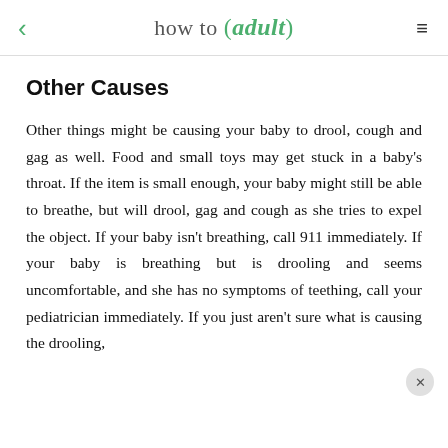how to (adult)
Other Causes
Other things might be causing your baby to drool, cough and gag as well. Food and small toys may get stuck in a baby's throat. If the item is small enough, your baby might still be able to breathe, but will drool, gag and cough as she tries to expel the object. If your baby isn't breathing, call 911 immediately. If your baby is breathing but is drooling and seems uncomfortable, and she has no symptoms of teething, call your pediatrician immediately. If you just aren't sure what is causing the drooling,